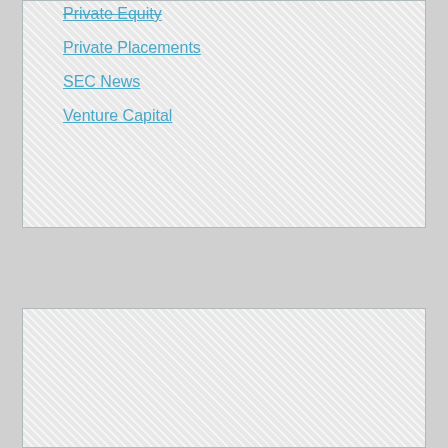Private Placements
SEC News
Venture Capital